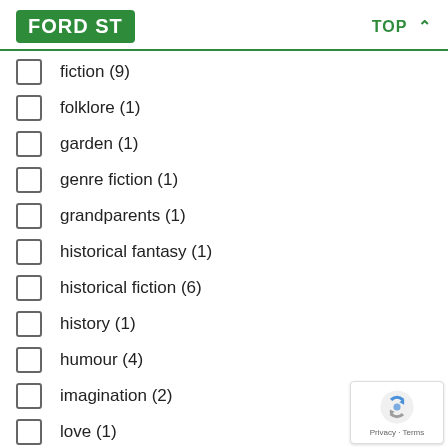FORD ST   TOP
fiction (9)
folklore (1)
garden (1)
genre fiction (1)
grandparents (1)
historical fantasy (1)
historical fiction (6)
history (1)
humour (4)
imagination (2)
love (1)